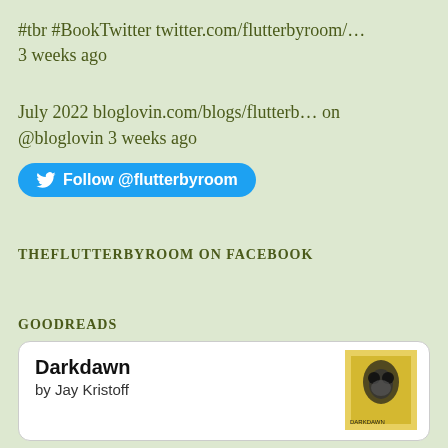#tbr #BookTwitter twitter.com/flutterbyroom/…
3 weeks ago
July 2022 bloglovin.com/blogs/flutterb… on @bloglovin 3 weeks ago
Follow @flutterbyroom
THEFLUTTERBYROOM ON FACEBOOK
GOODREADS
Darkdawn
by Jay Kristoff